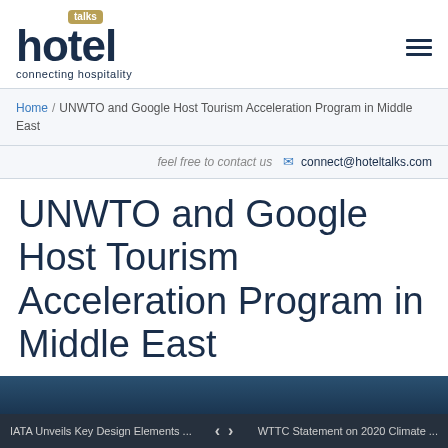[Figure (logo): Hotel Talks logo with 'talks' badge above 'hotel' in dark navy large font, with tagline 'connecting hospitality']
Home / UNWTO and Google Host Tourism Acceleration Program in Middle East
feel free to contact us  connect@hoteltalks.com
UNWTO and Google Host Tourism Acceleration Program in Middle East
IATA Unveils Key Design Elements ...    < >    WTTC Statement on 2020 Climate ...